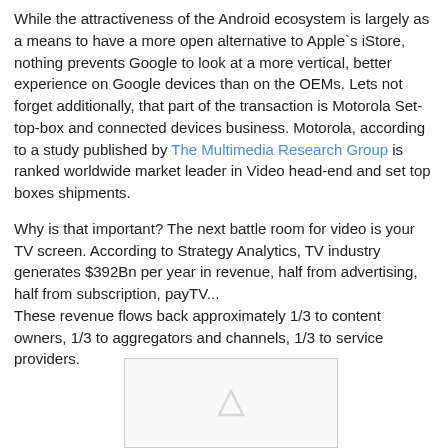While the attractiveness of the Android ecosystem is largely as a means to have a more open alternative to Apple`s iStore, nothing prevents Google to look at a more vertical, better experience on Google devices than on the OEMs. Lets not forget additionally, that part of the transaction is Motorola Set-top-box and connected devices business. Motorola, according to a study published by The Multimedia Research Group is ranked worldwide market leader in Video head-end and set top boxes shipments.
Why is that important? The next battle room for video is your TV screen. According to Strategy Analytics, TV industry generates $392Bn per year in revenue, half from advertising, half from subscription, payTV... These revenue flows back approximately 1/3 to content owners, 1/3 to aggregators and channels, 1/3 to service providers.
[Figure (other): Partially visible image placeholder with a small triangle/arrow icon, bordered box]